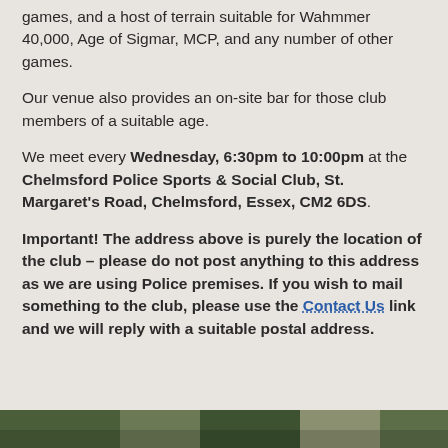games, and a host of terrain suitable for Wahmmer 40,000, Age of Sigmar, MCP, and any number of other games.
Our venue also provides an on-site bar for those club members of a suitable age.
We meet every Wednesday, 6:30pm to 10:00pm at the Chelmsford Police Sports & Social Club, St. Margaret's Road, Chelmsford, Essex, CM2 6DS.
Important! The address above is purely the location of the club – please do not post anything to this address as we are using Police premises.  If you wish to mail something to the club, please use the Contact Us link and we will reply with a suitable postal address.
[Figure (photo): Partial photo visible at the bottom of the page]